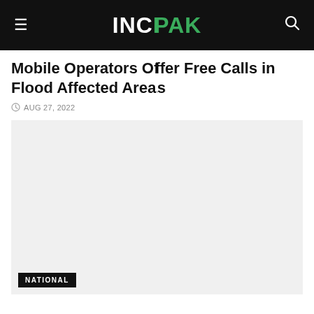INCPAK
Mobile Operators Offer Free Calls in Flood Affected Areas
AUG 27, 2022
[Figure (photo): Large image placeholder with light gray background and a NATIONAL category badge in the bottom-left corner]